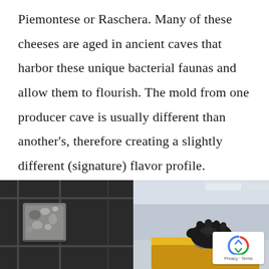Piemontese or Raschera. Many of these cheeses are aged in ancient caves that harbor these unique bacterial faunas and allow them to flourish. The mold from one producer cave is usually different than another's, therefore creating a slightly different (signature) flavor profile.
[Figure (photo): Two side-by-side photos: left shows a moldy cheese aging in a cave/rack environment; right shows a gloved hand (black glove) handling/brushing a yellow cheese wheel.]